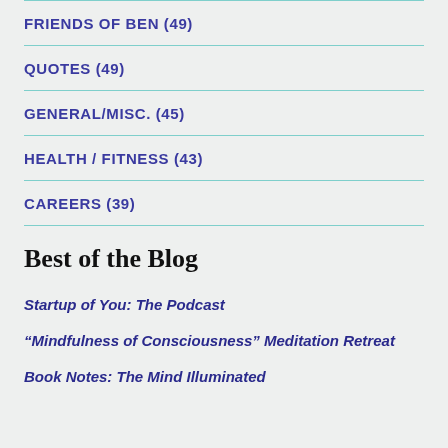FRIENDS OF BEN (49)
QUOTES (49)
GENERAL/MISC. (45)
HEALTH / FITNESS (43)
CAREERS (39)
Best of the Blog
Startup of You: The Podcast
“Mindfulness of Consciousness” Meditation Retreat
Book Notes: The Mind Illuminated